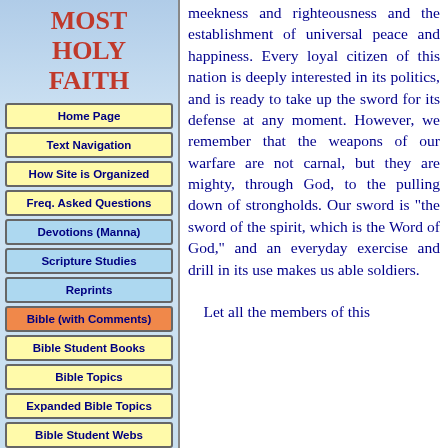MOST HOLY FAITH
Home Page
Text Navigation
How Site is Organized
Freq. Asked Questions
Devotions (Manna)
Scripture Studies
Reprints
Bible (with Comments)
Bible Student Books
Bible Topics
Expanded Bible Topics
Bible Student Webs
Miscellaneous
meekness and righteousness and the establishment of universal peace and happiness. Every loyal citizen of this nation is deeply interested in its politics, and is ready to take up the sword for its defense at any moment. However, we remember that the weapons of our warfare are not carnal, but they are mighty, through God, to the pulling down of strongholds. Our sword is "the sword of the spirit, which is the Word of God," and an everyday exercise and drill in its use makes us able soldiers.

Let all the members of this